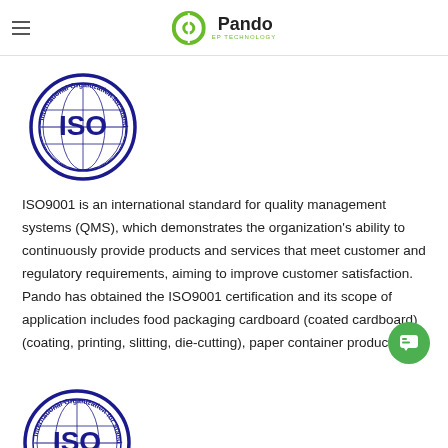Pando EP TECHNOLOGY
[Figure (logo): ISO International Organization for Standardization circular blue logo with globe and ISO text]
ISO9001 is an international standard for quality management systems (QMS), which demonstrates the organization's ability to continuously provide products and services that meet customer and regulatory requirements, aiming to improve customer satisfaction. Pando has obtained the ISO9001 certification and its scope of application includes food packaging cardboard (coated cardboard) (coating, printing, slitting, die-cutting), paper container products.
[Figure (logo): Second ISO logo partially visible at bottom of page]